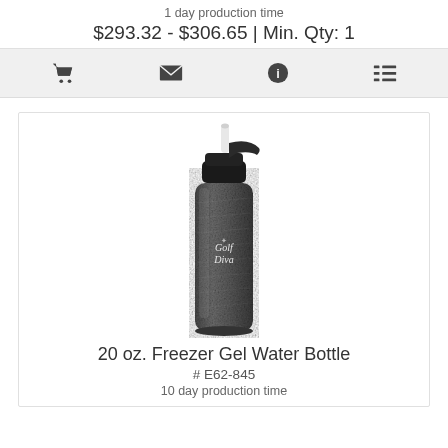1 day production time
$293.32 - $306.65 | Min. Qty: 1
[Figure (screenshot): Icon bar with shopping cart, envelope, info, and list icons on a light gray background]
[Figure (photo): A 20 oz. Freezer Gel Water Bottle with a black flip-top lid and a translucent dark gray textured body with 'Golf Diva' logo printed in white]
20 oz. Freezer Gel Water Bottle
# E62-845
10 day production time